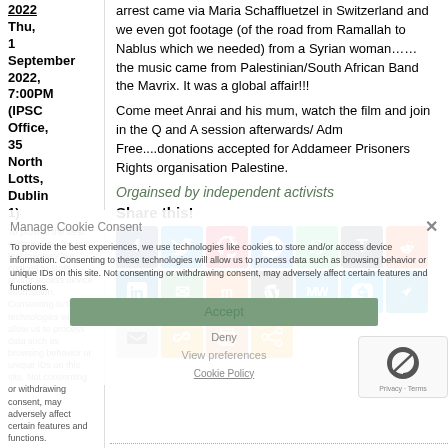2022 Thu, 1 September 2022, 7:00PM (IPSC Office, 35 North Lotts, Dublin 1)
To provide the best experiences, we use technologies like cookies to store and/or access device information. Consenting to these technologies will allow us to process data such as browsing behavior or unique IDs on this site. Not consenting or withdrawing consent, may adversely affect certain features and functions.
arrest came via Maria Schaffluetzel in Switzerland and we even got footage (of the road from Ramallah to Nablus which we needed) from a Syrian woman……the music came from Palestinian/South African Band the Mavrix. It was a global affair!!!
Come meet Anrai and his mum, watch the film and join in the Q and A session afterwards/ Adm Free....donations accepted for Addameer Prisoners Rights organisation Palestine.
Orgainsed by independent activists
Manage Cookie Consent
Accept
Deny
View preferences
Cookie Policy
Share this!
View all upcoming IPSC events →
[Figure (other): Social sharing icons grid: Facebook, Twitter, Pinterest, Messenger, WhatsApp, Tumblr, Reddit, LinkedIn, Email, Mix, WordPress, MeWe, Skype, Telegram, Pocket, Copy Link, Print, Share]
[Figure (other): reCAPTCHA widget with Privacy and Terms links]